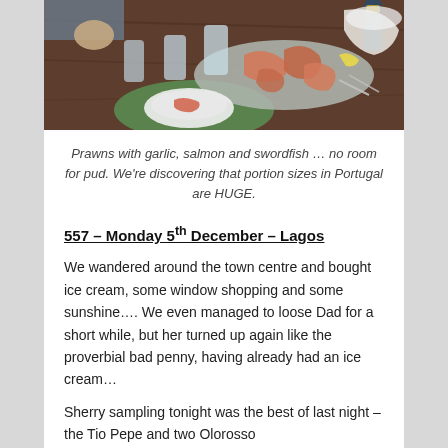[Figure (photo): Overhead view of a restaurant table with prawns/shrimp on a platter, glasses of water, and people eating seafood dishes.]
Prawns with garlic, salmon and swordfish … no room for pud.  We're discovering that portion sizes in Portugal are HUGE.
557 – Monday 5th December – Lagos
We wandered around the town centre and bought ice cream, some window shopping and some sunshine….  We even managed to loose Dad for a short while, but her turned up again like the proverbial bad penny, having already had an ice cream…
Sherry sampling tonight was the best of last night – the Tio Pepe and two Olorosso